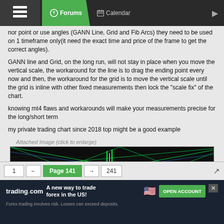Forums | Calendar
nor point or use angles (GANN Line, Grid and Fib Arcs) they need to be used on 1 timeframe only(it need the exact time and price of the frame to get the correct angles).
GANN line and Grid, on the long run, will not stay in place when you move the vertical scale, the workaround for the line is to drag the ending point every now and then, the workaround for the grid is to move the vertical scale until the grid is inline with other fixed measurements then lock the "scale fix" of the chart.
knowing mt4 flaws and workarounds will make your measurements precise for the long/short term
my private trading chart since 2018 top might be a good example
Attached Image (click to enlarge)
[Figure (screenshot): Trading chart screenshot showing GANN lines and grid overlays on a price chart with green, red, and blue diagonal lines on a dark background.]
1 ← Page 141 → 241
trading.com — A new way to trade forex in the US! OPEN ACCOUNT. Forex trading involves risk. Losses can exceed deposits.